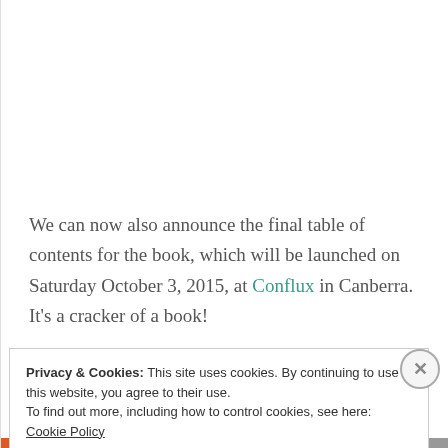We can now also announce the final table of contents for the book, which will be launched on Saturday October 3, 2015, at Conflux in Canberra. It's a cracker of a book!
Privacy & Cookies: This site uses cookies. By continuing to use this website, you agree to their use.
To find out more, including how to control cookies, see here: Cookie Policy
Close and accept